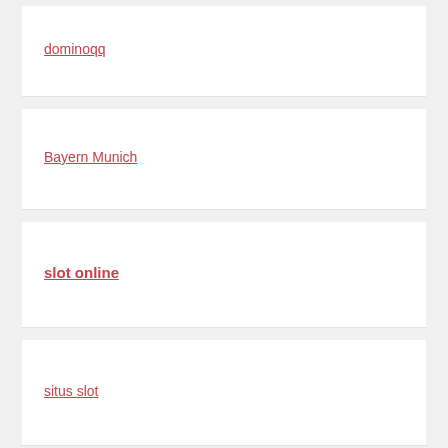dominoqq
Bayern Munich
slot online
situs slot
slot online